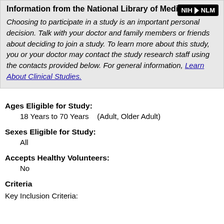Information from the National Library of Medicine
Choosing to participate in a study is an important personal decision. Talk with your doctor and family members or friends about deciding to join a study. To learn more about this study, you or your doctor may contact the study research staff using the contacts provided below. For general information, Learn About Clinical Studies.
Ages Eligible for Study:
18 Years to 70 Years   (Adult, Older Adult)
Sexes Eligible for Study:
All
Accepts Healthy Volunteers:
No
Criteria
Key Inclusion Criteria: